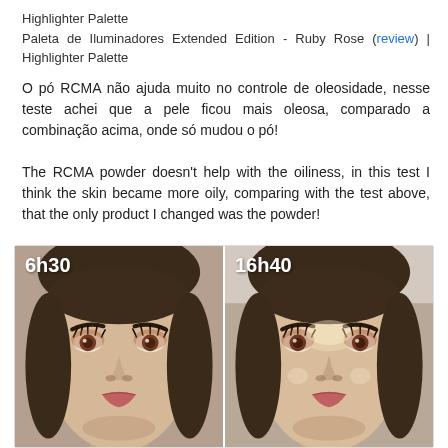Highlighter Palette
Paleta de Iluminadores Extended Edition - Ruby Rose (review) | Highlighter Palette
O pó RCMA não ajuda muito no controle de oleosidade, nesse teste achei que a pele ficou mais oleosa, comparado a combinação acima, onde só mudou o pó!
The RCMA powder doesn't help with the oiliness, in this test I think the skin became more oily, comparing with the test above, that the only product I changed was the powder!
[Figure (photo): Side-by-side comparison photos of a woman's face with makeup at two times of day: left panel labeled '6h30' and right panel labeled '16h40', showing skin oiliness comparison.]